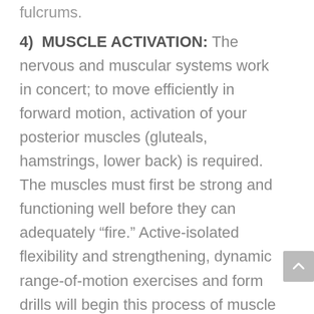fulcrums.
4)  MUSCLE ACTIVATION: The nervous and muscular systems work in concert; to move efficiently in forward motion, activation of your posterior muscles (gluteals, hamstrings, lower back) is required. The muscles must first be strong and functioning well before they can adequately “fire.” Active-isolated flexibility and strengthening, dynamic range-of-motion exercises and form drills will begin this process of muscle activation and reinforce or “cue” those proper movement patterns in